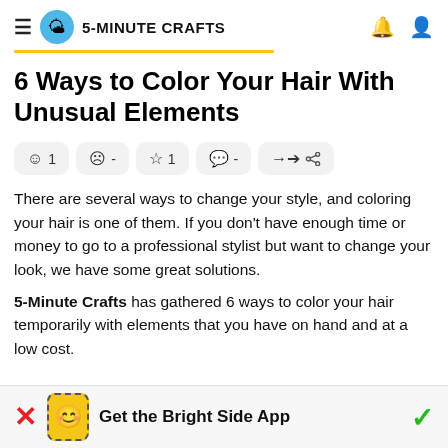5-MINUTE CRAFTS
6 Ways to Color Your Hair With Unusual Elements
[Figure (infographic): Reaction buttons: smiley face 1, sad face -, star 1, comment -, share]
There are several ways to change your style, and coloring your hair is one of them. If you don't have enough time or money to go to a professional stylist but want to change your look, we have some great solutions.
5-Minute Crafts has gathered 6 ways to color your hair temporarily with elements that you have on hand and at a low cost.
[Figure (infographic): App banner at bottom: red X, yellow phone icon with dashed border, text 'Get the Bright Side App', green checkmark]